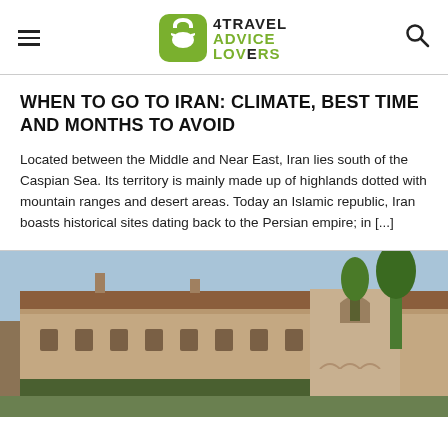4TRAVEL ADVICE LOVERS
WHEN TO GO TO IRAN: CLIMATE, BEST TIME AND MONTHS TO AVOID
Located between the Middle and Near East, Iran lies south of the Caspian Sea. Its territory is mainly made up of highlands dotted with mountain ranges and desert areas. Today an Islamic republic, Iran boasts historical sites dating back to the Persian empire; in [...]
[Figure (photo): Exterior view of a historic stone building complex with arched windows and tiled roofs, surrounded by trees]